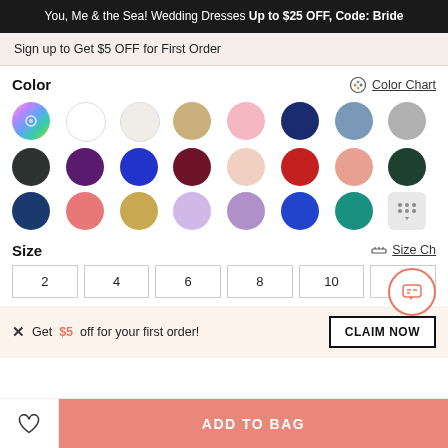You, Me & the Sea! Wedding Dresses Up to $25 OFF, Code: Bride
Sign up to Get $5 OFF for First Order
Color
Color Chart
[Figure (other): Color swatches grid: rainbow/custom, white, off-white, champagne, blush pink, navy, steel blue, silver/grey, charcoal black, purple, royal blue, burgundy/wine, pale blush, red, peach/salmon, dark green, navy blue, coral, gold/champagne, lavender, mauve/purple, cobalt blue, teal, more button]
Size
Size Ch...
| 2 | 4 | 6 | 8 | 10 | 12 |
Get $5 off for your first order!
CLAIM NOW
ADD TO BAG